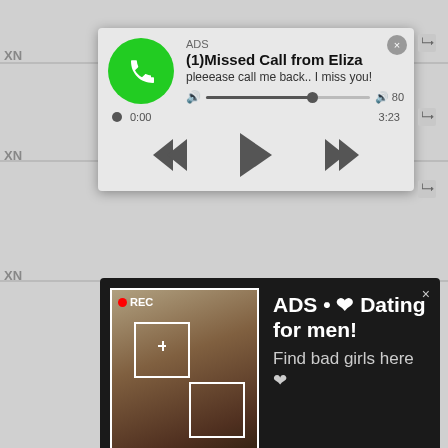[Figure (screenshot): Audio ad popup showing missed call notification from Eliza with play controls. Top section. ADS label, title '(1)Missed Call from Eliza', subtitle 'pleeease call me back.. I miss you!', audio player with progress bar, timestamps 0:00 and 3:23, and playback controls (rewind, play, fast-forward).]
[Figure (screenshot): Dark dating ad popup with REC camera overlay image on left and text 'ADS • ❤ Dating for men! Find bad girls here ❤' on right. Close X button top right.]
update sets and more on our free porn site!
2020-2022 @ onlyteenpussy.net
DMCA   2257   Abuse   Privacy Policy